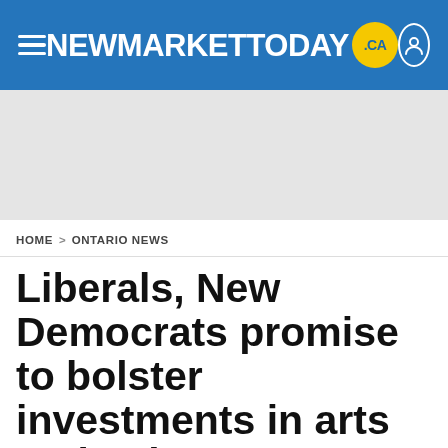NEWMARKETTODAY .ca
[Figure (other): Advertisement placeholder banner (grey background)]
HOME > ONTARIO NEWS
Liberals, New Democrats promise to bolster investments in arts and culture
Nicole Thompson and Lamin Smith, The Canadian P...